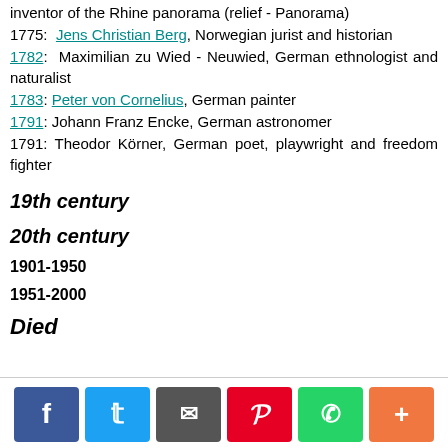inventor of the Rhine panorama (relief - Panorama)
1775: Jens Christian Berg, Norwegian jurist and historian
1782: Maximilian zu Wied - Neuwied, German ethnologist and naturalist
1783: Peter von Cornelius, German painter
1791: Johann Franz Encke, German astronomer
1791: Theodor Körner, German poet, playwright and freedom fighter
19th century
20th century
1901-1950
1951-2000
Died